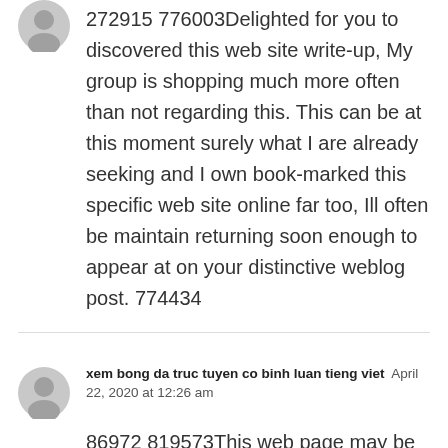272915 776003Delighted for you to discovered this web site write-up, My group is shopping much more often than not regarding this. This can be at this moment surely what I are already seeking and I own book-marked this specific web site online far too, Ill often be maintain returning soon enough to appear at on your distinctive weblog post. 774434
xem bong da truc tuyen co binh luan tieng viet  April 22, 2020 at 12:26 am
86972 819573This web page may be a walk-through like the data you wanted